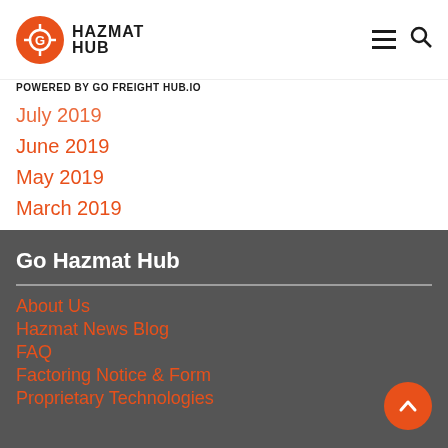[Figure (logo): Go Hazmat Hub logo with orange circle icon and bold text 'GO HAZMAT HUB']
POWERED BY GO FREIGHT HUB.IO
July 2019
June 2019
May 2019
March 2019
Go Hazmat Hub
About Us
Hazmat News Blog
FAQ
Factoring Notice & Form
Proprietary Technologies